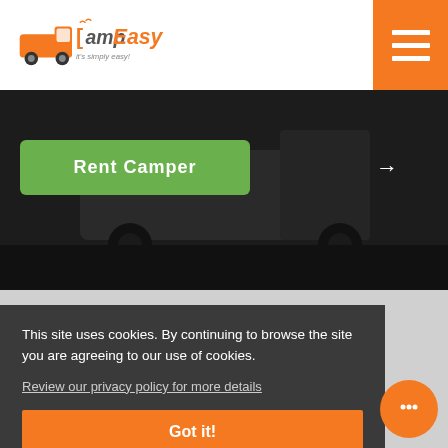[Figure (logo): CampEasy logo — orange camper van icon with text 'CampEasy it's simply easy!']
[Figure (other): Orange hamburger menu button with three white horizontal bars]
[Figure (photo): Dark hero image showing a camper van from the rear, nearly black]
Rent Camper
This site uses cookies. By continuing to browse the site you are agreeing to our use of cookies.
Review our privacy policy for more details
Got it!